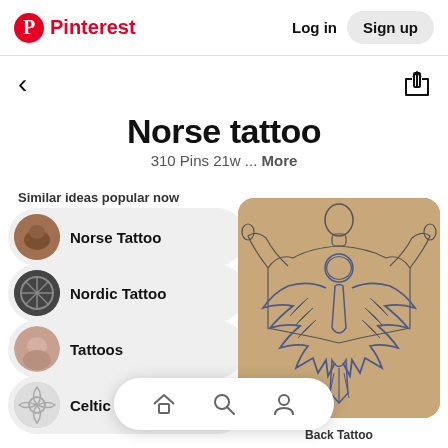Pinterest  Log in  Sign up
Norse tattoo
310 Pins 21w ... More
Similar ideas popular now
Norse Tattoo
Nordic Tattoo
Tattoos
Celtic Tattoo
[Figure (illustration): Sketch of a person seen from the back with a large Norse/Viking eagle/raven tattoo design on tan/brown background]
Back Tattoo
Home  Search  Profile (bottom navigation bar)